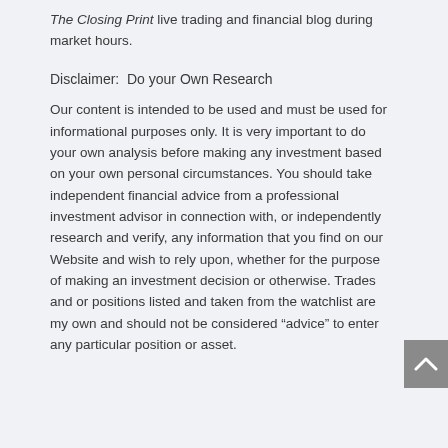The Closing Print live trading and financial blog during market hours.
Disclaimer:  Do your Own Research
Our content is intended to be used and must be used for informational purposes only. It is very important to do your own analysis before making any investment based on your own personal circumstances. You should take independent financial advice from a professional investment advisor in connection with, or independently research and verify, any information that you find on our Website and wish to rely upon, whether for the purpose of making an investment decision or otherwise. Trades and or positions listed and taken from the watchlist are my own and should not be considered “advice” to enter any particular position or asset.